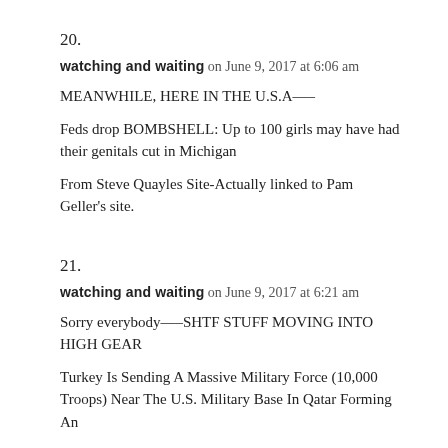20.
watching and waiting on June 9, 2017 at 6:06 am
MEANWHILE, HERE IN THE U.S.A—–
Feds drop BOMBSHELL: Up to 100 girls may have had their genitals cut in Michigan
From Steve Quayles Site-Actually linked to Pam Geller's site.
21.
watching and waiting on June 9, 2017 at 6:21 am
Sorry everybody—–SHTF STUFF MOVING INTO HIGH GEAR
Turkey Is Sending A Massive Military Force (10,000 Troops) Near The U.S. Military Base In Qatar Forming An